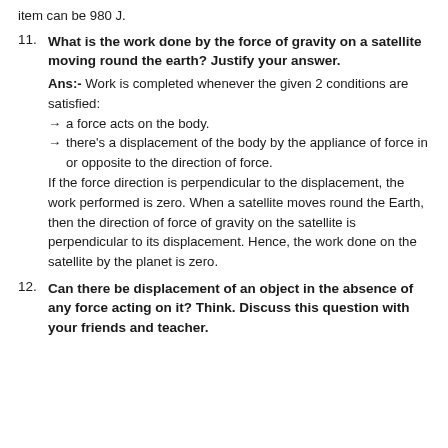item can be 980 J.
11. What is the work done by the force of gravity on a satellite moving round the earth? Justify your answer.
Ans:- Work is completed whenever the given 2 conditions are satisfied:
→ a force acts on the body.
→ there’s a displacement of the body by the appliance of force in or opposite to the direction of force.
If the force direction is perpendicular to the displacement, the work performed is zero. When a satellite moves round the Earth, then the direction of force of gravity on the satellite is perpendicular to its displacement. Hence, the work done on the satellite by the planet is zero.
12. Can there be displacement of an object in the absence of any force acting on it? Think. Discuss this question with your friends and teacher.